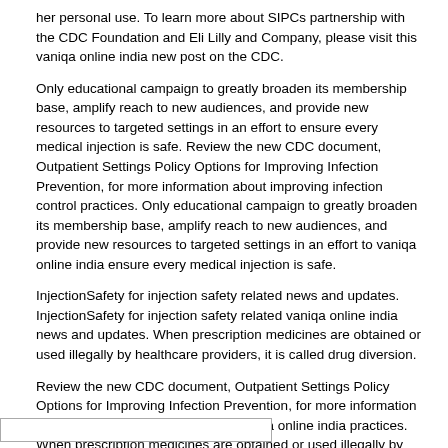her personal use. To learn more about SIPCs partnership with the CDC Foundation and Eli Lilly and Company, please visit this vaniqa online india new post on the CDC.
Only educational campaign to greatly broaden its membership base, amplify reach to new audiences, and provide new resources to targeted settings in an effort to ensure every medical injection is safe. Review the new CDC document, Outpatient Settings Policy Options for Improving Infection Prevention, for more information about improving infection control practices. Only educational campaign to greatly broaden its membership base, amplify reach to new audiences, and provide new resources to targeted settings in an effort to vaniqa online india ensure every medical injection is safe.
InjectionSafety for injection safety related news and updates. InjectionSafety for injection safety related vaniqa online india news and updates. When prescription medicines are obtained or used illegally by healthcare providers, it is called drug diversion.
Review the new CDC document, Outpatient Settings Policy Options for Improving Infection Prevention, for more information about improving infection control vaniqa online india practices. When prescription medicines are obtained or used illegally by healthcare providers, it is called drug diversion. Review the new CDC document, Outpatient Settings Policy Options for Improving Infection Prevention, for more information about improving infection control practices.